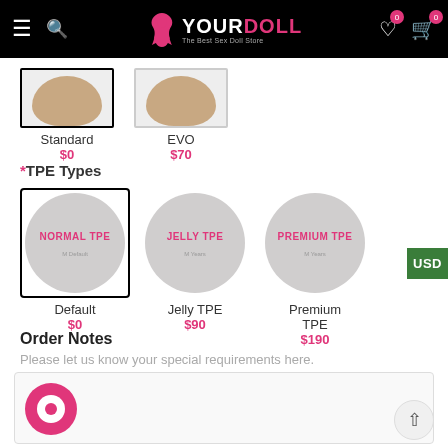YOURDOLL - The Best Sex Doll Store
Standard $0   EVO $70
*TPE Types
Default $0   Jelly TPE $90   Premium TPE $190
Order Notes
Please let us know your special requirements here.